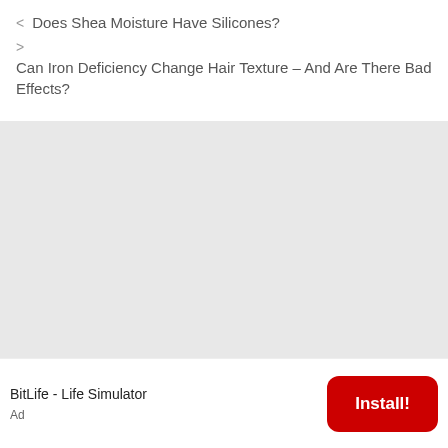< Does Shea Moisture Have Silicones?
> Can Iron Deficiency Change Hair Texture – And Are There Bad Effects?
[Figure (other): Large light gray advertisement placeholder block]
BitLife - Life Simulator
Ad
Install!